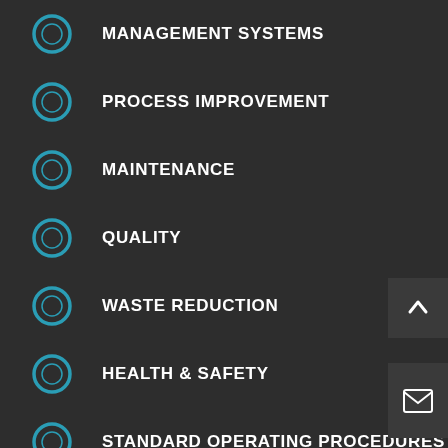MANAGEMENT SYSTEMS
PROCESS IMPROVEMENT
MAINTENANCE
QUALITY
WASTE REDUCTION
HEALTH & SAFETY
STANDARD OPERATING PROCEDURES